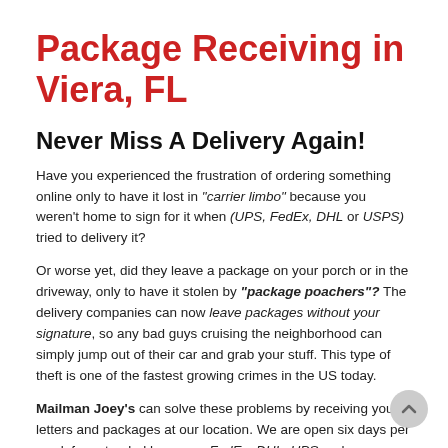Package Receiving in Viera, FL
Never Miss A Delivery Again!
Have you experienced the frustration of ordering something online only to have it lost in “carrier limbo” because you weren’t home to sign for it when (UPS, FedEx, DHL or USPS) tried to delivery it?
Or worse yet, did they leave a package on your porch or in the driveway, only to have it stolen by “package poachers”? The delivery companies can now leave packages without your signature, so any bad guys cruising the neighborhood can simply jump out of their car and grab your stuff. This type of theft is one of the fastest growing crimes in the US today.
Mailman Joey’s can solve these problems by receiving your letters and packages at our location. We are open six days per week for extended hours, so FedEx, DHL, UPS and